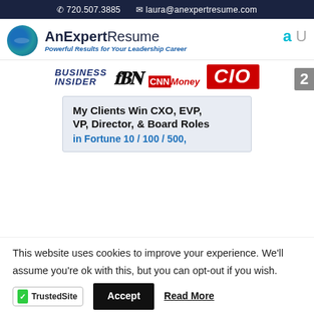720.507.3885  laura@anexpertresume.com
[Figure (logo): AnExpertResume logo with globe icon and text 'AnExpertResume - Powerful Results for Your Leadership Career']
[Figure (logo): Media logos: Business Insider, Fox (partially visible), CNNMoney, CIO]
[Figure (infographic): Promotional box: 'My Clients Win CXO, EVP, VP, Director, & Board Roles in Fortune 10 / 100 / 500,']
This website uses cookies to improve your experience. We'll assume you're ok with this, but you can opt-out if you wish.
[Figure (logo): TrustedSite badge with green checkmark]